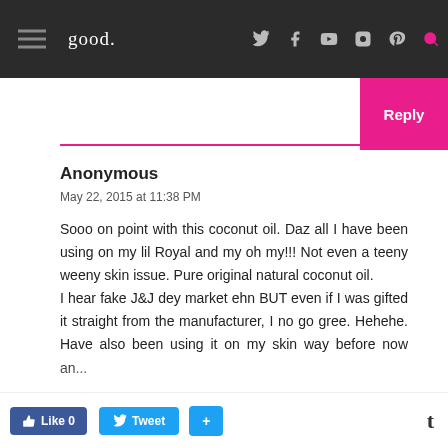good.
Reply
Anonymous
May 22, 2015 at 11:38 PM
Sooo on point with this coconut oil. Daz all I have been using on my lil Royal and my oh my!!! Not even a teeny weeny skin issue. Pure original natural coconut oil.
I hear fake J&J dey market ehn BUT even if I was gifted it straight from the manufacturer, I no go gree. Hehehe. Have also been using it on my skin way before now an...
Like 0  Tweet  +  t